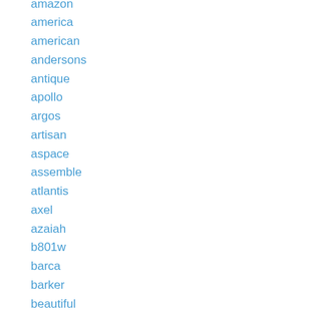amazon
america
american
andersons
antique
apollo
argos
artisan
aspace
assemble
atlantis
axel
azaiah
b801w
barca
barker
beautiful
bedalicious
bedroom
bell
bespoke
best